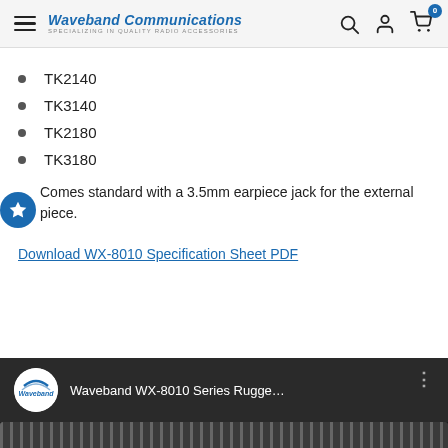Waveband Communications — SPECIALIZING IN QUALITY RADIO ACCESSORIES
TK2140
TK3140
TK2180
TK3180
Comes standard with a 3.5mm earpiece jack for the external piece.
Download WX-8010 Specification Sheet PDF
[Figure (screenshot): Waveband WX-8010 Series Rugge... video thumbnail with Waveband logo circle and three-dot menu, dark background with ribbed product image at bottom]